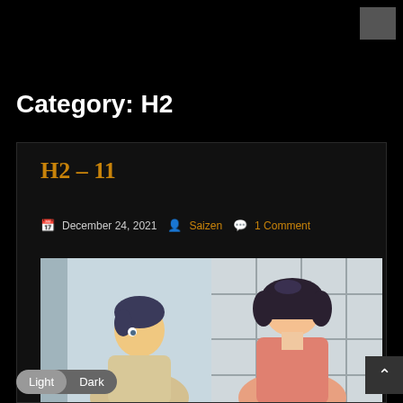Category: H2
H2 – 11
December 24, 2021  Saizen  1 Comment
[Figure (photo): Anime screenshot showing two characters, a male with dark hair viewed from front-left angle and a female with short dark hair viewed from behind, in an indoor setting with window grid panels]
Light  Dark